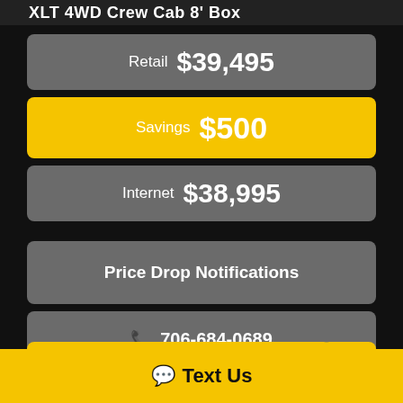XLT 4WD Crew Cab 8' Box
Retail  $39,495
Savings  $500
Internet  $38,995
Price Drop Notifications
706-684-0689
Text Us
Text Us